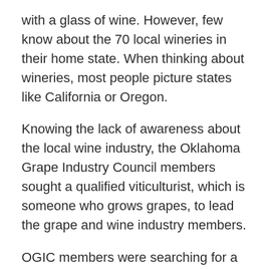with a glass of wine. However, few know about the 70 local wineries in their home state. When thinking about wineries, most people picture states like California or Oregon.
Knowing the lack of awareness about the local wine industry, the Oklahoma Grape Industry Council members sought a qualified viticulturist, which is someone who grows grapes, to lead the grape and wine industry members.
OGIC members were searching for a viticulturist who would be able to connect with winemakers and help expand the industry throughout the state.
Oklahoma State University Extension hired